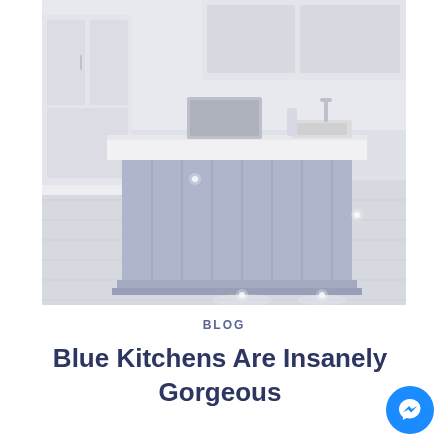[Figure (photo): Interior photo of a modern kitchen featuring a large blue-grey kitchen island with white quartz countertop, vertical panel detailing, and small floor-level spotlights. White cabinetry and light grey hardwood flooring visible in background.]
BLOG
Blue Kitchens Are Insanely Gorgeous